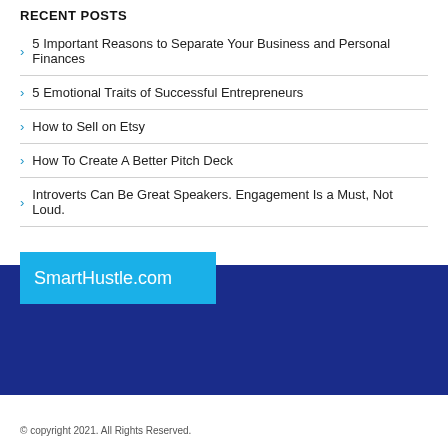RECENT POSTS
5 Important Reasons to Separate Your Business and Personal Finances
5 Emotional Traits of Successful Entrepreneurs
How to Sell on Etsy
How To Create A Better Pitch Deck
Introverts Can Be Great Speakers. Engagement Is a Must, Not Loud.
[Figure (logo): SmartHustle.com logo in white text on light blue background, over a dark navy blue banner]
© copyright 2021. All Rights Reserved.